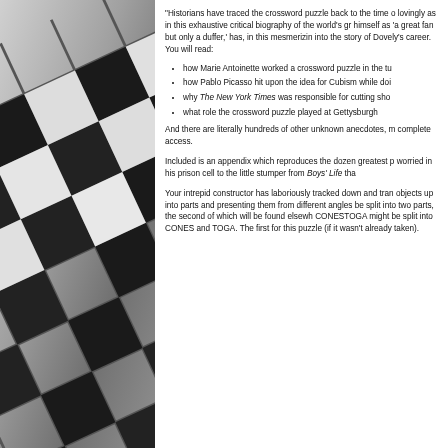[Figure (photo): Black and white photo of crossword puzzle tiles at an angle, showing the grid pattern with black and white squares]
"Historians have traced the crossword puzzle back to the time of lovingly as in this exhaustive critical biography of the world's greatest crossword constructor. himself as 'a great fan but only a duffer,' has, in this mesmerizing into the story of Dovely's career. You will read:
how Marie Antoinette worked a crossword puzzle in the tu
how Pablo Picasso hit upon the idea for Cubism while doi
why The New York Times was responsible for cutting sho
what role the crossword puzzle played at Gettysburgh
And there are literally hundreds of other unknown anecdotes, m complete access.
Included is an appendix which reproduces the dozen greatest p worried in his prison cell to the little stumper from Boys' Life tha
Your intrepid constructor has laboriously tracked down and tran objects up into parts and presenting them from different angles be split into two parts, the second of which will be found elsewh CONESTOGA might be split into CONES and TOGA. The first for this puzzle (if it wasn't already taken).